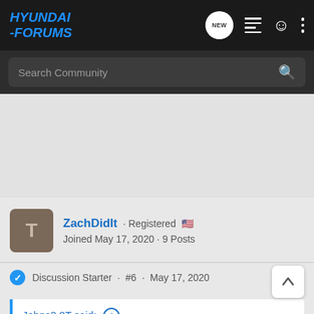[Figure (logo): Hyundai-Forums logo in blue italic bold text on dark background]
Search Community
ZachDidIt · Registered 🇺🇸
Joined May 17, 2020 · 9 Posts
Discussion Starter · #6 · May 17, 2020
Johns2.0T said: ↗